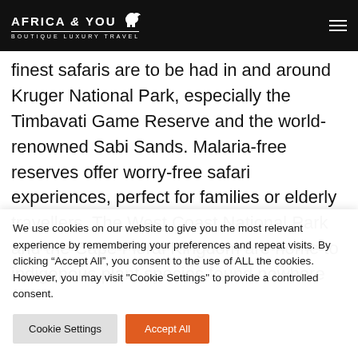AFRICA & YOU BOUTIQUE LUXURY TRAVEL
finest safaris are to be had in and around Kruger National Park, especially the Timbavati Game Reserve and the world-renowned Sabi Sands. Malaria-free reserves offer worry-free safari experiences, perfect for families or elderly travellers. The West Coast National Park and the Cape Floral Kingdom are home to indigenous plant species found nowhere
We use cookies on our website to give you the most relevant experience by remembering your preferences and repeat visits. By clicking “Accept All”, you consent to the use of ALL the cookies. However, you may visit "Cookie Settings" to provide a controlled consent.
Cookie Settings | Accept All